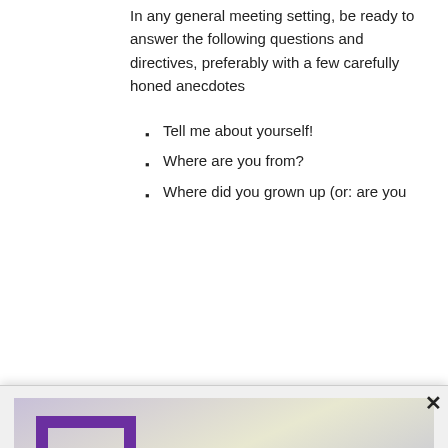In any general meeting setting, be ready to answer the following questions and directives, preferably with a few carefully honed anecdotes
Tell me about yourself!
Where are you from?
Where did you grown up (or: are you
[Figure (logo): Lee Jessup Screenwriters Blog logo banner with purple text on gradient background]
Get Lee's new blog post notifications in email.
Enter your email